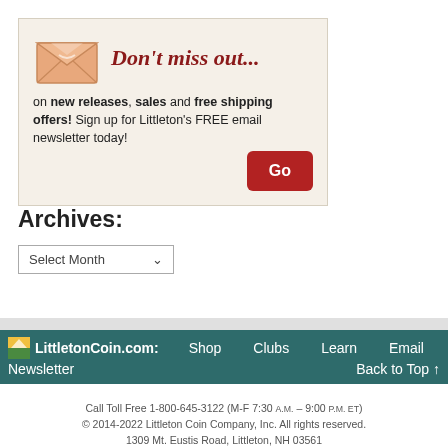[Figure (illustration): Newsletter signup promotional banner with envelope illustration and 'Don't miss out...' headline in italic red serif font, with text about new releases, sales, free shipping, and a red Go button]
Archives:
Select Month (dropdown)
LittletonCoin.com: Shop Clubs Learn Email Newsletter Back to Top ↑
Call Toll Free 1-800-645-3122 (M-F 7:30 A.M. – 9:00 P.M. ET) © 2014-2022 Littleton Coin Company, Inc. All rights reserved. 1309 Mt. Eustis Road, Littleton, NH 03561